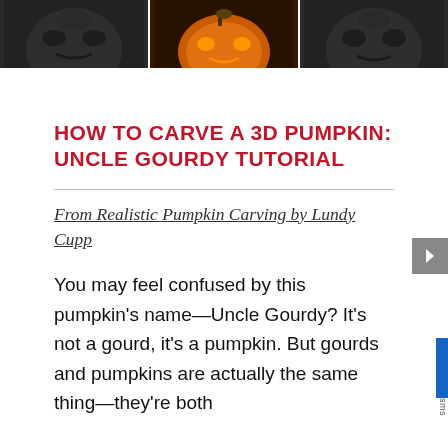[Figure (photo): Three-panel strip of pumpkin carving images: left panel shows a dark textured carved pumpkin face, center panel shows a glowing orange carved pumpkin with a lit face design, right panel shows another dark carved pumpkin face.]
HOW TO CARVE A 3D PUMPKIN: UNCLE GOURDY TUTORIAL
From Realistic Pumpkin Carving by Lundy Cupp
You may feel confused by this pumpkin's name—Uncle Gourdy? It's not a gourd, it's a pumpkin. But gourds and pumpkins are actually the same thing—they're both